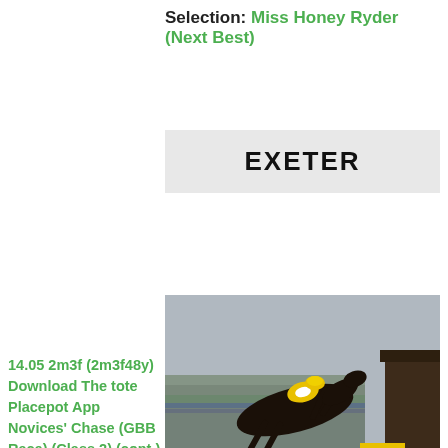Selection: Miss Honey Ryder (Next Best)
EXETER
[Figure (photo): A jockey in yellow and white silks on a dark horse jumping a fence at a racecourse, with grandstands visible in the background.]
14.05 2m3f (2m3f48y) Download The tote Placepot App Novices' Chase (GBB Race) (Class 2) (cont.)